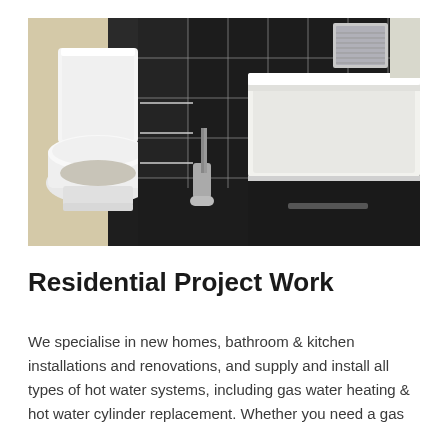[Figure (photo): A modern bathroom interior showing a white toilet, black tile walls, a toilet brush holder, and the edge of a white bathtub with dark cabinet vanity underneath.]
Residential Project Work
We specialise in new homes, bathroom & kitchen installations and renovations, and supply and install all types of hot water systems, including gas water heating & hot water cylinder replacement. Whether you need a gas